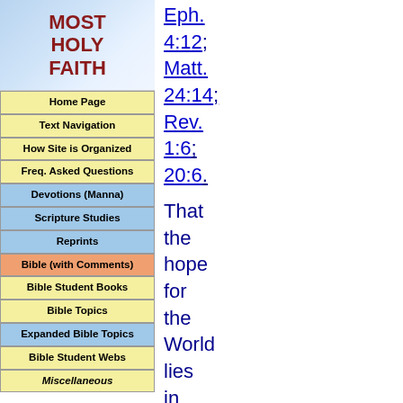[Figure (other): Logo area with 'MOST HOLY FAITH' text in dark red on light blue gradient background]
Home Page
Text Navigation
How Site is Organized
Freq. Asked Questions
Devotions (Manna)
Scripture Studies
Reprints
Bible (with Comments)
Bible Student Books
Bible Topics
Expanded Bible Topics
Bible Student Webs
Miscellaneous
Eph. 4:12; Matt. 24:14; Rev. 1:6; 20:6.
That the hope for the World lies in the blessings of knowledge and